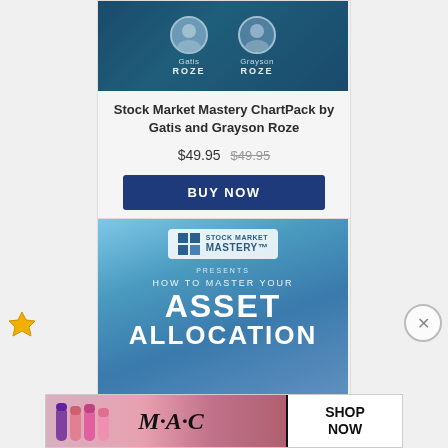[Figure (photo): Dark teal banner showing two people (Gatis Roze and Grayson Roze) with their names and last names displayed below their circular portraits]
Stock Market Mastery ChartPack by Gatis and Grayson Roze
$49.95  $49.95 (strikethrough)
BUY NOW
[Figure (illustration): Stock Market Mastery logo banner with text 'HOW TO MASTER YOUR ASSET ALLOCATION' on blue gradient background]
[Figure (photo): MAC cosmetics advertisement showing lipsticks with SHOP NOW call to action]